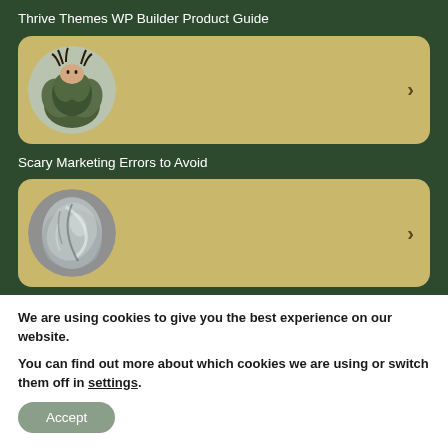Thrive Themes WP Builder Product Guide
[Figure (illustration): Card with circular image of a person peeking from behind a decorative pumpkin/artichoke on a golden-yellow background with a chevron arrow on the right]
Scary Marketing Errors to Avoid
[Figure (illustration): Card with circular image of a metallic abstract sculptural form on a golden-yellow background with a chevron arrow on the right]
We are using cookies to give you the best experience on our website.
You can find out more about which cookies we are using or switch them off in settings.
Accept